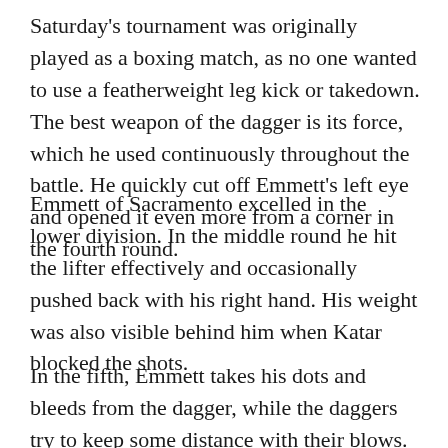Saturday's tournament was originally played as a boxing match, as no one wanted to use a featherweight leg kick or takedown. The best weapon of the dagger is its force, which he used continuously throughout the battle. He quickly cut off Emmett's left eye and opened it even more from a corner in the fourth round.
Emmett of Sacramento excelled in the lower division. In the middle round he hit the lifter effectively and occasionally pushed back with his right hand. His weight was also visible behind him when Katar blocked the shots.
In the fifth, Emmett takes his dots and bleeds from the dagger, while the daggers try to keep some distance with their blows.